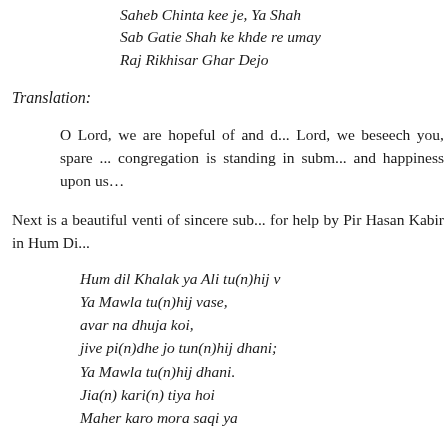Saheb Chinta kee je, Ya Shah Sab Gatie Shah ke khde re umay Raj Rikhisar Ghar Dejo
Translation:
O Lord, we are hopeful of and d... Lord, we beseech you, spare ... congregation is standing in subm... and happiness upon us…
Next is a beautiful venti of sincere sub... for help by Pir Hasan Kabir in Hum Di...
Hum dil Khalak ya Ali tu(n)hij v... Ya Mawla tu(n)hij vase, avar na dhuja koi, jive pi(n)dhe jo tun(n)hij dhani; Ya Mawla tu(n)hij dhani. Jia(n) kari(n) tiya hoi Maher karo mora saqi ya